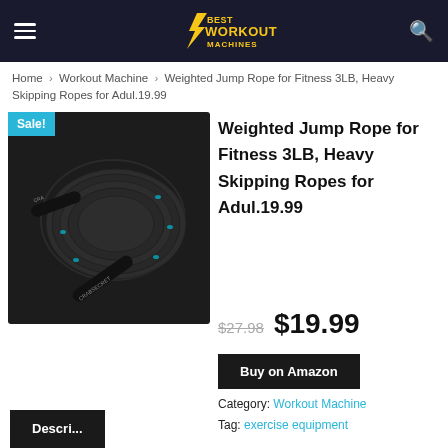Best Workout Machines — navigation header
Home › Workout Machine › Weighted Jump Rope for Fitness 3LB, Heavy Skipping Ropes for Adul.19.99
[Figure (photo): Product photo of a weighted jump rope coiled up with black handles labeled CRABSECRET, with a Sale! badge in the top-left corner]
Weighted Jump Rope for Fitness 3LB, Heavy Skipping Ropes for Adul.19.99
$27.98  $19.99
Buy on Amazon
Category: Workout Machine
Tag: exercise equipment